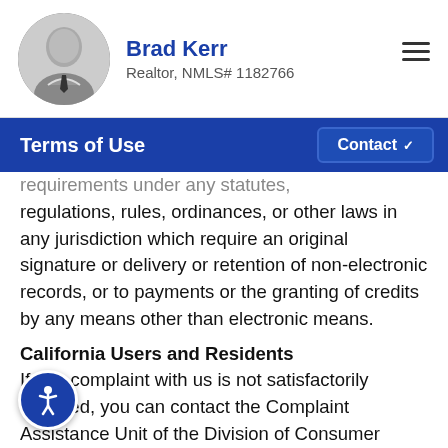Brad Kerr
Realtor, NMLS# 1182766
Terms of Use
requirements under any statutes, regulations, rules, ordinances, or other laws in any jurisdiction which require an original signature or delivery or retention of non-electronic records, or to payments or the granting of credits by any means other than electronic means.
California Users and Residents
If any complaint with us is not satisfactorily resolved, you can contact the Complaint Assistance Unit of the Division of Consumer Services of the California Department of Consumer Affairs in writing at 1625 North